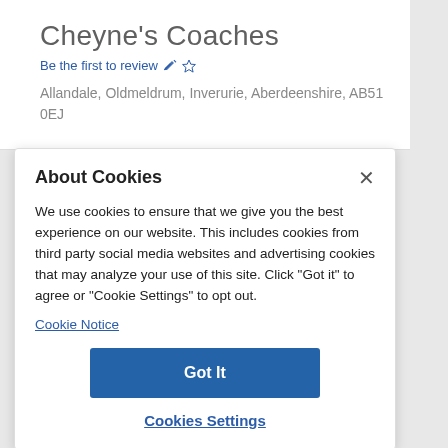Cheyne's Coaches
Be the first to review ✏️☆
Allandale, Oldmeldrum, Inverurie, Aberdeenshire, AB51 0EJ
About Cookies
We use cookies to ensure that we give you the best experience on our website. This includes cookies from third party social media websites and advertising cookies that may analyze your use of this site. Click "Got it" to agree or "Cookie Settings" to opt out.
Cookie Notice
Got It
Cookies Settings